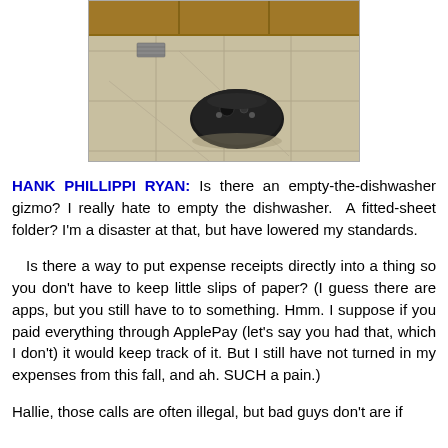[Figure (photo): A Roomba robot vacuum cleaner sitting on a tile floor in front of wooden kitchen cabinets]
HANK PHILLIPPI RYAN: Is there an empty-the-dishwasher gizmo? I really hate to empty the dishwasher. A fitted-sheet folder? I'm a disaster at that, but have lowered my standards.

Is there a way to put expense receipts directly into a thing so you don't have to keep little slips of paper? (I guess there are apps, but you still have to to something. Hmm. I suppose if you paid everything through ApplePay (let's say you had that, which I don't) it would keep track of it. But I still have not turned in my expenses from this fall, and ah. SUCH a pain.)

Hallie, those calls are often illegal, but bad guys don't are if